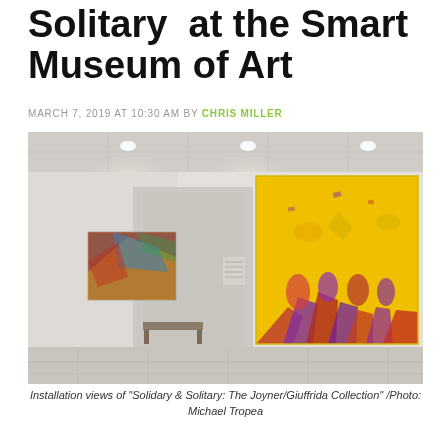Solitary at the Smart Museum of Art
MARCH 7, 2019 AT 10:30 AM BY CHRIS MILLER
[Figure (photo): Installation view of a museum gallery showing two large colorful abstract paintings on white walls. On the right, a large yellow canvas with abstract figures in purple and red. On the left in background, a smaller colorful painting. The gallery has polished floors and recessed lighting.]
Installation views of “Solidary & Solitary: The Joyner/Giuffrida Collection” /Photo: Michael Tropea